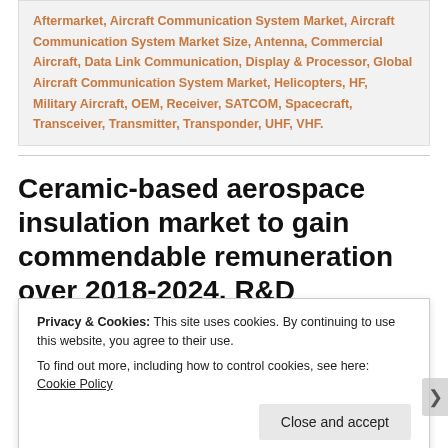Aftermarket, Aircraft Communication System Market, Aircraft Communication System Market Size, Antenna, Commercial Aircraft, Data Link Communication, Display & Processor, Global Aircraft Communication System Market, Helicopters, HF, Military Aircraft, OEM, Receiver, SATCOM, Spacecraft, Transceiver, Transmitter, Transponder, UHF, VHF.
Ceramic-based aerospace insulation market to gain commendable remuneration over 2018-2024, R&D activities to strongly characterize the
Privacy & Cookies: This site uses cookies. By continuing to use this website, you agree to their use. To find out more, including how to control cookies, see here: Cookie Policy